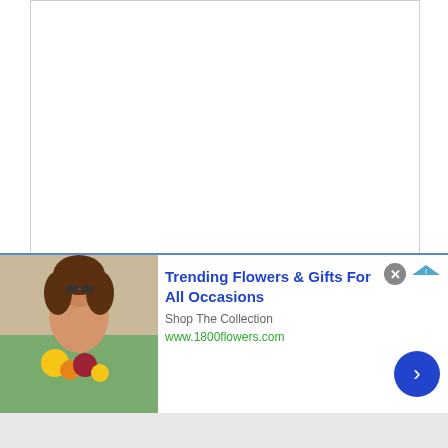[Figure (screenshot): Empty textarea input box with resize handle at bottom right]
Name *
[Figure (screenshot): Empty single-line text input box for Name field]
Email *
[Figure (screenshot): Empty single-line text input box for Email field]
[Figure (infographic): Advertisement banner: Trending Flowers & Gifts For All Occasions - Shop The Collection - www.1800flowers.com, with woman holding flowers photo, blue arrow button, and close X button]